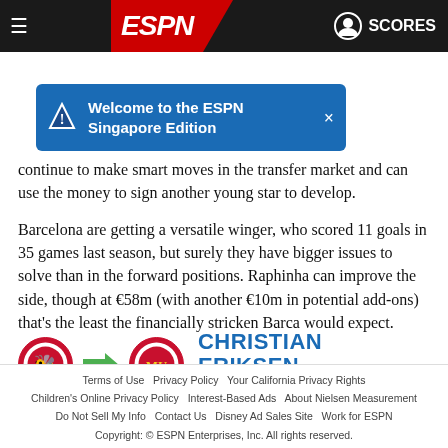[Figure (screenshot): ESPN navigation bar with hamburger menu, ESPN logo, user icon and SCORES text]
[Figure (infographic): Blue notification banner: Welcome to the ESPN Singapore Edition with close button]
continue to make smart moves in the transfer market and can use the money to sign another young star to develop.
Barcelona are getting a versatile winger, who scored 11 goals in 35 games last season, but surely they have bigger issues to solve than in the forward positions. Raphinha can improve the side, though at €58m (with another €10m in potential add-ons) that's the least the financially stricken Barca would expect.
[Figure (infographic): Transfer graphic: Brentford logo → arrow → Manchester United logo, player name CHRISTIAN ERIKSEN, fee: Free]
Terms of Use  Privacy Policy  Your California Privacy Rights  Children's Online Privacy Policy  Interest-Based Ads  About Nielsen Measurement  Do Not Sell My Info  Contact Us  Disney Ad Sales Site  Work for ESPN  Copyright: © ESPN Enterprises, Inc. All rights reserved.